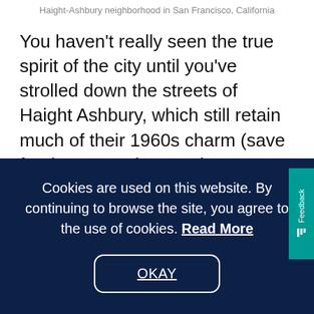Haight-Ashbury neighborhood in San Francisco, California
You haven’t really seen the true spirit of the city until you’ve strolled down the streets of Haight Ashbury, which still retain much of their 1960s charm (save for the expensive nearby apartments.)
This region of the city was the birthplace of the state’s hippie counterculture movement, an
Cookies are used on this website. By continuing to browse the site, you agree to the use of cookies. Read More
OKAY